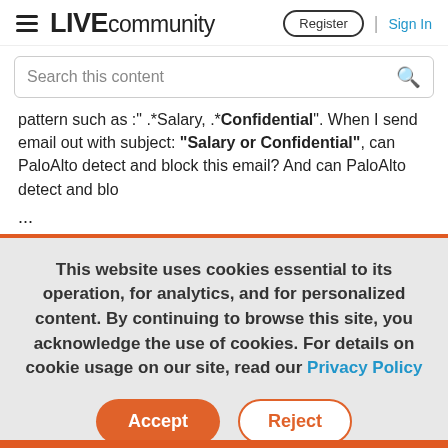LIVE community — Register | Sign In
Search this content
pattern such as :" .*Salary, .*Confidential". When I send email out with subject: "Salary or Confidential", can PaloAlto detect and block this email? And can PaloAlto detect and blo
...
This website uses cookies essential to its operation, for analytics, and for personalized content. By continuing to browse this site, you acknowledge the use of cookies. For details on cookie usage on our site, read our Privacy Policy